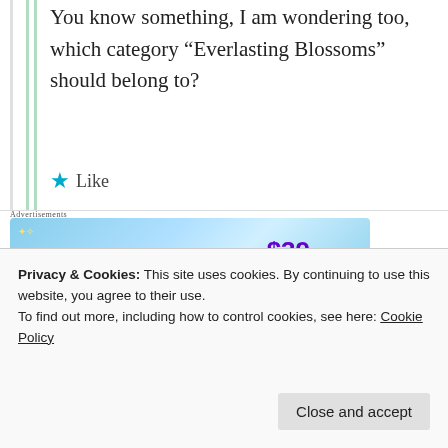You know something, I am wondering too, which category “Everlasting Blossoms” should belong to?
★ Like
Advertisements
[Figure (screenshot): Tumblr Ad-Free Browsing banner advertisement showing $39.99 a year or $4.99 a month pricing with the Tumblr logo and sparkles on a light blue gradient background.]
REPORT THIS AD
Privacy & Cookies: This site uses cookies. By continuing to use this website, you agree to their use. To find out more, including how to control cookies, see here: Cookie Policy
Close and accept
It would be non-fiction, crafts, Fanfic…